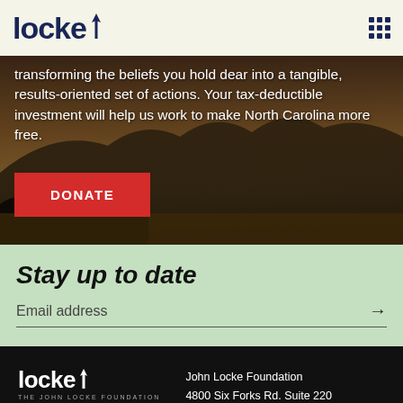locke (logo)
transforming the beliefs you hold dear into a tangible, results-oriented set of actions. Your tax-deductible investment will help us work to make North Carolina more free.
DONATE
Stay up to date
Email address
John Locke Foundation
4800 Six Forks Rd. Suite 220
Raleigh, NC 27609
(919) 828-3876
info@johnlocke.org